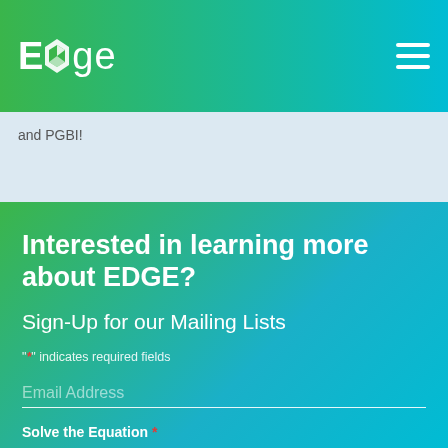Edge
and PGBI!
Interested in learning more about EDGE?
Sign-Up for our Mailing Lists
"*" indicates required fields
Email Address
Solve the Equation *